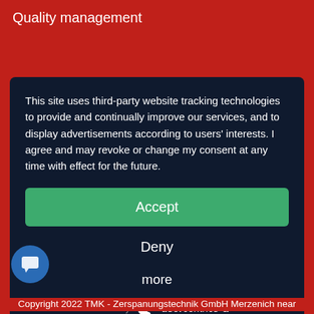Quality management
This site uses third-party website tracking technologies to provide and continually improve our services, and to display advertisements according to users' interests. I agree and may revoke or change my consent at any time with effect for the future.
Accept
Deny
more
Powered by usercentrics &
Copyright 2022 TMK - Zerspanungstechnik GmbH Merzenich near